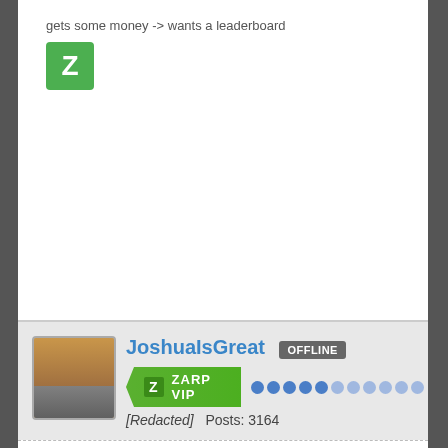gets some money -> wants a leaderboard
[Figure (logo): Green Z icon (ZARP logo)]
[Figure (infographic): User profile card: JoshuaIsGreat, OFFLINE badge, ZARP VIP green banner, avatar of Minecraft-style character, [Redacted] Posts: 3164]
[This signature was redacted by the site owner due to containing an opinion]
[Figure (screenshot): Discord chat screenshot showing jusu, Today at 3:25 PM, with colored chat messages]